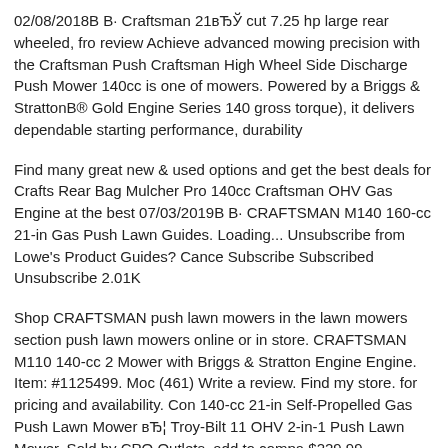02/08/2018В В· Craftsman 21вЂЎ cut 7.25 hp large rear wheeled, fro review Achieve advanced mowing precision with the Craftsman Push Craftsman High Wheel Side Discharge Push Mower 140cc is one of mowers. Powered by a Briggs & StrattonВ® Gold Engine Series 140 gross torque), it delivers dependable starting performance, durability
Find many great new & used options and get the best deals for Crafts Rear Bag Mulcher Pro 140cc Craftsman OHV Gas Engine at the best 07/03/2019В В· CRAFTSMAN M140 160-cc 21-in Gas Push Lawn Guides. Loading... Unsubscribe from Lowe's Product Guides? Cance Subscribe Subscribed Unsubscribe 2.01K
Shop CRAFTSMAN push lawn mowers in the lawn mowers section push lawn mowers online or in store. CRAFTSMAN M110 140-cc 2 Mower with Briggs & Stratton Engine Engine. Item: #1125499. Moc (461) Write a review. Find my store. for pricing and availability. Con 140-cc 21-in Self-Propelled Gas Push Lawn Mower вЂ¦ Troy-Bilt 11 OHV 2-in-1 Push Lawn Mower. Sold by CPO Outlets. add to compa $229.99. Craftsman 39942 19" Corded Electric Mower (59) Sold by